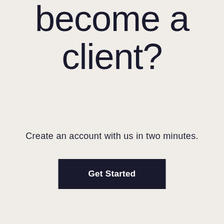Ready to become a client?
Create an account with us in two minutes.
Get Started